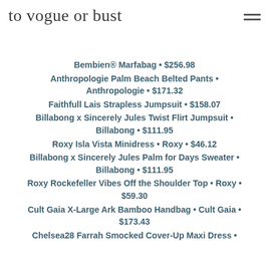to vogue or bust
Bembien® Marfabag • $256.98
Anthropologie Palm Beach Belted Pants • Anthropologie • $171.32
Faithfull Lais Strapless Jumpsuit • $158.07
Billabong x Sincerely Jules Twist Flirt Jumpsuit • Billabong • $111.95
Roxy Isla Vista Minidress • Roxy • $46.12
Billabong x Sincerely Jules Palm for Days Sweater • Billabong • $111.95
Roxy Rockefeller Vibes Off the Shoulder Top • Roxy • $59.30
Cult Gaia X-Large Ark Bamboo Handbag • Cult Gaia • $173.43
Chelsea28 Farrah Smocked Cover-Up Maxi Dress •